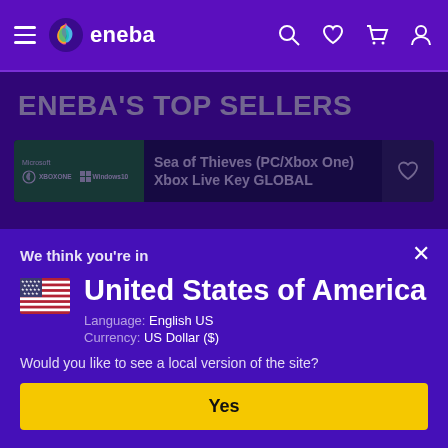eneba navigation bar with hamburger menu, logo, search, wishlist, cart, and profile icons
ENEBA'S TOP SELLERS
[Figure (screenshot): Product listing banner for Sea of Thieves (PC/Xbox One) Xbox Live Key GLOBAL on dark navy background with green Xbox branding image on left and heart/wishlist button on right]
We think you're in
United States of America
Language: English US
Currency: US Dollar ($)
Would you like to see a local version of the site?
Yes